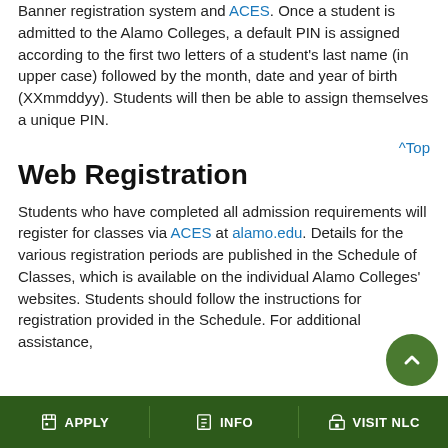Banner registration system and ACES. Once a student is admitted to the Alamo Colleges, a default PIN is assigned according to the first two letters of a student's last name (in upper case) followed by the month, date and year of birth (XXmmddyy). Students will then be able to assign themselves a unique PIN.
^Top
Web Registration
Students who have completed all admission requirements will register for classes via ACES at alamo.edu. Details for the various registration periods are published in the Schedule of Classes, which is available on the individual Alamo Colleges' websites. Students should follow the instructions for registration provided in the Schedule. For additional assistance,
APPLY   INFO   VISIT NLC